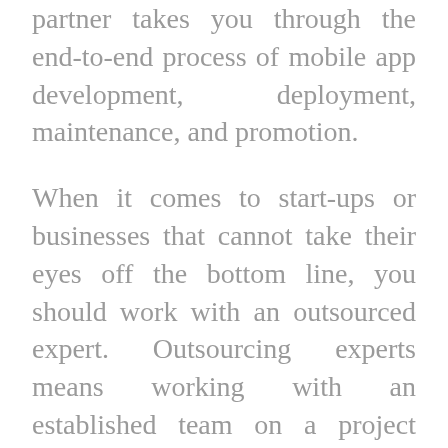partner takes you through the end-to-end process of mobile app development, deployment, maintenance, and promotion.
When it comes to start-ups or businesses that cannot take their eyes off the bottom line, you should work with an outsourced expert. Outsourcing experts means working with an established team on a project basis. While both approaches have disadvantages and benefits, we recommend working with an established mobile app developer.
But, what do you look out for in a mobile